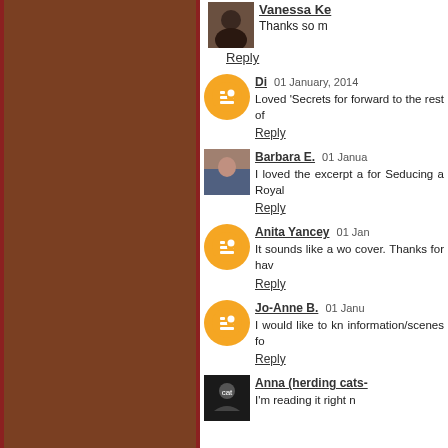[Figure (photo): Brown/reddish-brown decorative left panel with dark red borders]
Vanessa Ke…
Thanks so m…
Reply
Di  01 January, 2014
Loved 'Secrets for… forward to the rest of…
Reply
Barbara E.  01 Janua…
I loved the excerpt a… for Seducing a Royal…
Reply
Anita Yancey  01 Jan…
It sounds like a wo… cover. Thanks for hav…
Reply
Jo-Anne B.  01 Janu…
I would like to kn… information/scenes fo…
Reply
Anna (herding cats-…
I'm reading it right n…